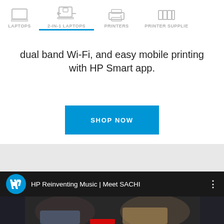LAPTOPS | 2-IN-1 LAPTOPS | PRINTERS | PRINTER SUPPLIES
dual band Wi-Fi, and easy mobile printing with HP Smart app.
[Figure (screenshot): Blue SHOP NOW button]
[Figure (screenshot): HP YouTube video thumbnail showing HP Reinventing Music | Meet SACHI with two young men seated, HP logo visible]
HP Reinventing Music | Meet SACHI